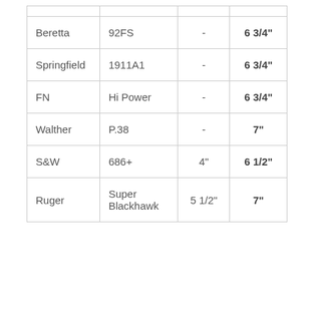|  |  |  |  |
| --- | --- | --- | --- |
| Beretta | 92FS | - | 6 3/4" |
| Springfield | 1911A1 | - | 6 3/4" |
| FN | Hi Power | - | 6 3/4" |
| Walther | P.38 | - | 7" |
| S&W | 686+ | 4" | 6 1/2" |
| Ruger | Super Blackhawk | 5 1/2" | 7" |